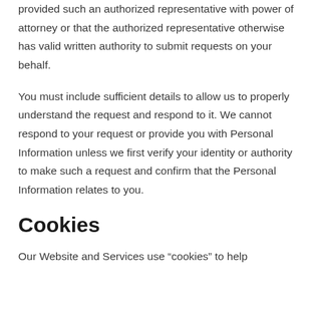provided such an authorized representative with power of attorney or that the authorized representative otherwise has valid written authority to submit requests on your behalf.
You must include sufficient details to allow us to properly understand the request and respond to it. We cannot respond to your request or provide you with Personal Information unless we first verify your identity or authority to make such a request and confirm that the Personal Information relates to you.
Cookies
Our Website and Services use “cookies” to help